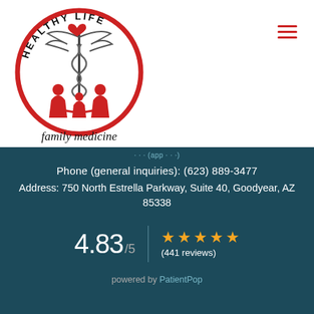[Figure (logo): Healthy Life Family Medicine logo — circular red border with caduceus symbol and family silhouettes, text 'Healthy Life' on top arc and 'family medicine' below]
Phone (general inquiries): (623) 889-3477
Address: 750 North Estrella Parkway, Suite 40, Goodyear, AZ 85338
4.83 /5  ★★★★★ (441 reviews)
powered by PatientPop